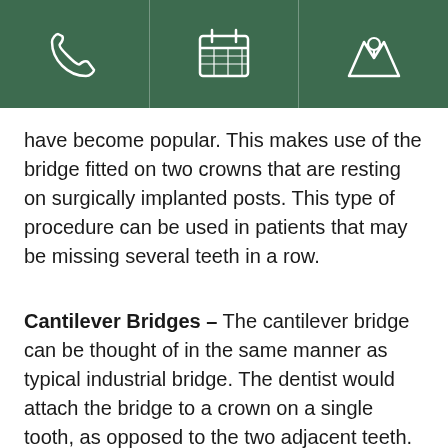[Figure (infographic): Dark green header bar with three white icons separated by vertical lines: a phone icon on the left, a calendar/schedule icon in the center, and a location/map pin icon on the right.]
have become popular. This makes use of the bridge fitted on two crowns that are resting on surgically implanted posts. This type of procedure can be used in patients that may be missing several teeth in a row.
Cantilever Bridges – The cantilever bridge can be thought of in the same manner as typical industrial bridge. The dentist would attach the bridge to a crown on a single tooth, as opposed to the two adjacent teeth. Dentists would not recommend this type of bridge for molars (back teeth) as the molars bear the force of a patient's bite. Cantilever bridges are a rare type of bridge, but are still